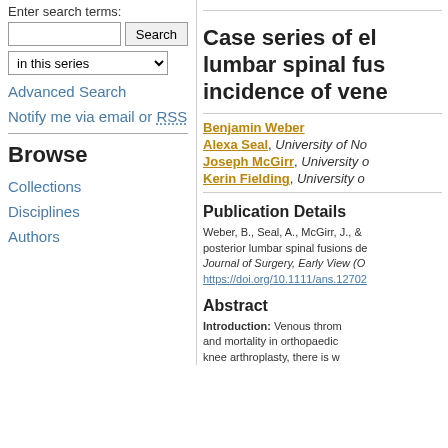Enter search terms:
Advanced Search
Notify me via email or RSS
Browse
Collections
Disciplines
Authors
Case series of el lumbar spinal fus incidence of vene
Benjamin Weber
Alexa Seal, University of No
Joseph McGirr, University o
Kerin Fielding, University o
Publication Details
Weber, B., Seal, A., McGirr, J., & posterior lumbar spinal fusions de Journal of Surgery, Early View (O https://doi.org/10.1111/ans.12702
Abstract
Introduction: Venous throm and mortality in orthopaedic knee arthroplasty, there is w